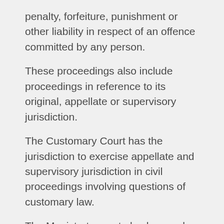penalty, forfeiture, punishment or other liability in respect of an offence committed by any person.
These proceedings also include proceedings in reference to its original, appellate or supervisory jurisdiction.
The Customary Court has the jurisdiction to exercise appellate and supervisory jurisdiction in civil proceedings involving questions of customary law.
The Magistrate court also has such civil and criminal jurisdiction as provided under the law creating it.
In Abia State, quite a number of cases are filed every day. The Magistrate Courts dispose summarily about 80% of these cases while the High Court handles about 20%, which constitute the most delicate and